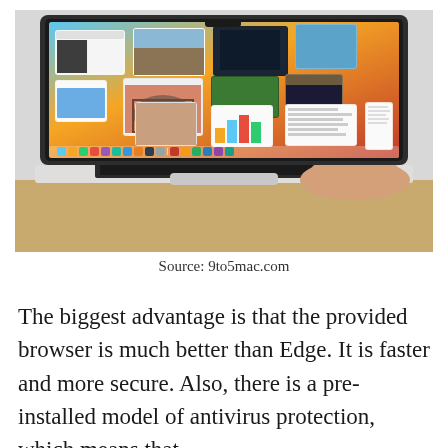[Figure (photo): A MacBook laptop photographed from above-left angle showing macOS Mission Control or Stage Manager view with multiple app windows open on an orange/yellow desktop. A hand is visible on the right side touching the trackpad. The laptop sits on a wooden surface against a light grey background.]
Source: 9to5mac.com
The biggest advantage is that the provided browser is much better than Edge. It is faster and more secure. Also, there is a pre-installed model of antivirus protection, which means that